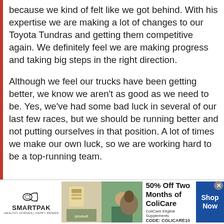because we kind of felt like we got behind. With his expertise we are making a lot of changes to our Toyota Tundras and getting them competitive again. We definitely feel we are making progress and taking big steps in the right direction.
Although we feel our trucks have been getting better, we know we aren't as good as we need to be. Yes, we've had some bad luck in several of our last few races, but we should be running better and not putting ourselves in that position. A lot of times we make our own luck, so we are working hard to be a top-running team.
[Figure (other): SmartPak advertisement banner: 50% Off Two Months of ColiCare. ColiCare Eligible Supplements. CODE: COLICARE10. Shows SmartPak logo with horse, product image, and woman with horse photo. Shop Now button.]